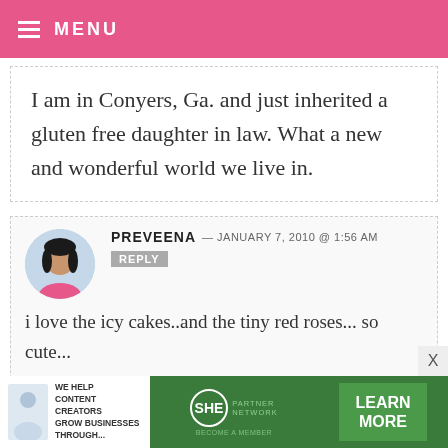MENU
I am in Conyers, Ga. and just inherited a gluten free daughter in law. What a new and wonderful world we live in.
PREVEENA — JANUARY 7, 2010 @ 1:56 AM  REPLY
i love the icy cakes..and the tiny red roses... so cute...
http://www.glutenfreeda.com/recipe-index.asp
try this website... has got gluten free
[Figure (photo): Advertisement banner: SHE Partner Network - We help content creators grow businesses through... Learn More]
[Figure (photo): Avatar photo of Preveena - woman in pink top]